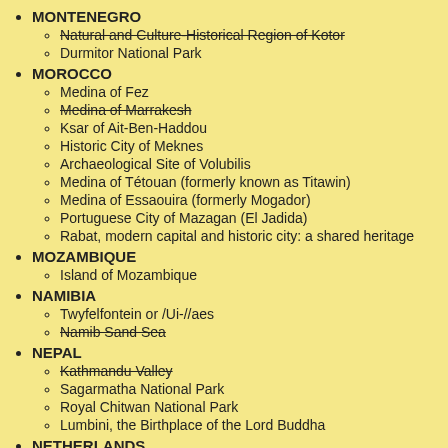MONTENEGRO
Natural and Culture-Historical Region of Kotor (strikethrough)
Durmitor National Park
MOROCCO
Medina of Fez
Medina of Marrakesh (strikethrough)
Ksar of Ait-Ben-Haddou
Historic City of Meknes
Archaeological Site of Volubilis
Medina of Tétouan (formerly known as Titawin)
Medina of Essaouira (formerly Mogador)
Portuguese City of Mazagan (El Jadida)
Rabat, modern capital and historic city: a shared heritage
MOZAMBIQUE
Island of Mozambique
NAMIBIA
Twyfelfontein or /Ui-//aes
Namib Sand Sea (strikethrough)
NEPAL
Kathmandu Valley (strikethrough)
Sagarmatha National Park
Royal Chitwan National Park
Lumbini, the Birthplace of the Lord Buddha
NETHERLANDS
Schokland and Surroundings (strikethrough)